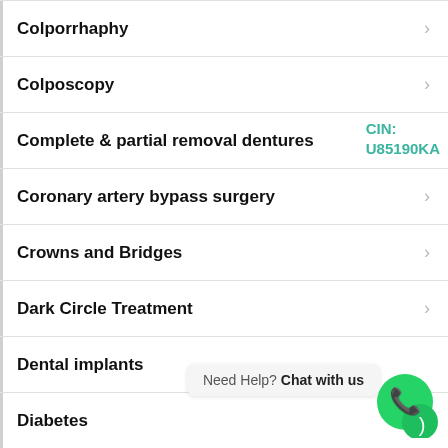Colporrhaphy
Colposcopy
Complete & partial removal dentures
Coronary artery bypass surgery
Crowns and Bridges
Dark Circle Treatment
Dental implants
Diabetes
Need Help? Chat with us
CIN: U85190KA